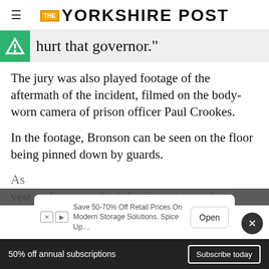THE YORKSHIRE POST
hurt that governor."
The jury was also played footage of the aftermath of the incident, filmed on the body-worn camera of prison officer Paul Crookes.
In the footage, Bronson can be seen on the floor being pinned down by guards.
As ... vest and grey tracksuit bottoms, he can be
50% off annual subscriptions  Subscribe today